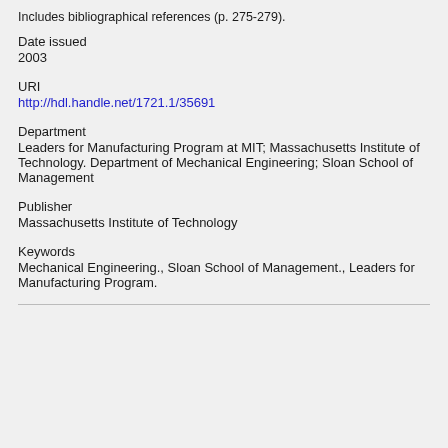Includes bibliographical references (p. 275-279).
Date issued
2003
URI
http://hdl.handle.net/1721.1/35691
Department
Leaders for Manufacturing Program at MIT; Massachusetts Institute of Technology. Department of Mechanical Engineering; Sloan School of Management
Publisher
Massachusetts Institute of Technology
Keywords
Mechanical Engineering., Sloan School of Management., Leaders for Manufacturing Program.